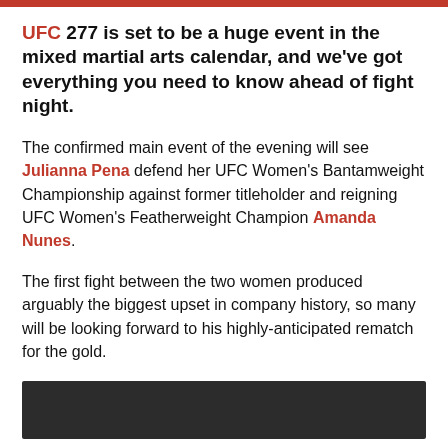UFC 277 is set to be a huge event in the mixed martial arts calendar, and we've got everything you need to know ahead of fight night.
The confirmed main event of the evening will see Julianna Pena defend her UFC Women's Bantamweight Championship against former titleholder and reigning UFC Women's Featherweight Champion Amanda Nunes.
The first fight between the two women produced arguably the biggest upset in company history, so many will be looking forward to his highly-anticipated rematch for the gold.
[Figure (photo): Dark/black rectangular image area at the bottom of the page]